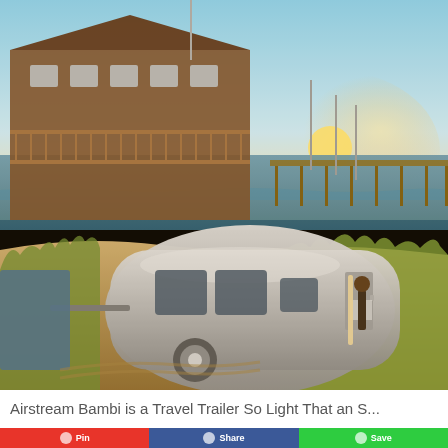[Figure (photo): An Airstream Bambi silver travel trailer parked on sandy beach dunes in front of a large multi-story beach house with a pier extending into the ocean. A person carrying a surfboard walks on the sandy path. Warm golden sunset light.]
Airstream Bambi is a Travel Trailer So Light That an S...